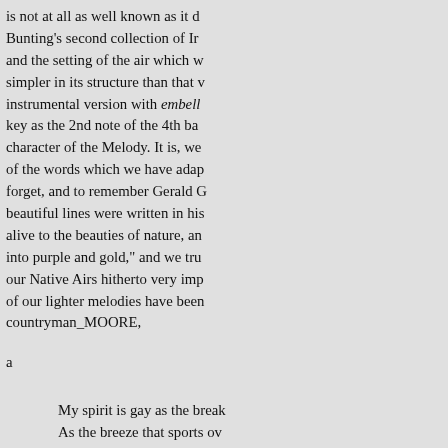is not at all as well known as it d... Bunting's second collection of Ir... and the setting of the air which w... simpler in its structure than that ... instrumental version with embellishments... key as the 2nd note of the 4th ba... character of the Melody. It is, we... of the words which we have adap... forget, and to remember Gerald G... beautiful lines were written in his... alive to the beauties of nature, an... into purple and gold," and we tru... our Native Airs hitherto very imp... of our lighter melodies have bee... countryman_MOORE,
a
My spirit is gay as the break...
As the breeze that sports ov...
As the song of yon lark fron...
Or the harp-strings that ring...
For the world and its vapour...